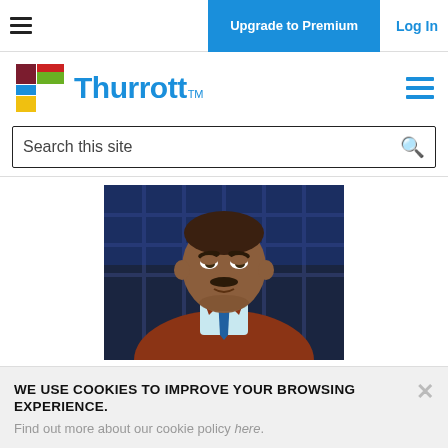Upgrade to Premium  Log In
[Figure (logo): Thurrott logo with colorful T icon and blue Thurrott wordmark with TM mark]
Search this site
[Figure (photo): Animated cartoon character — a heavyset man in a rust/orange blazer with a green scarf and light blue shirt and blue tie, looking skeptically to one side. Dark blue industrial background with large windows.]
WE USE COOKIES TO IMPROVE YOUR BROWSING EXPERIENCE.
Find out more about our cookie policy here.